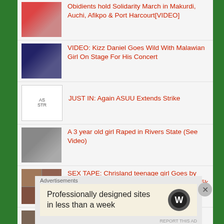Obidients hold Solidarity March in Makurdi, Auchi, Afikpo & Port Harcourt[VIDEO]
VIDEO: Kizz Daniel Goes Wild With Malawian Girl On Stage For His Concert
JUST IN: Again ASUU Extends Strike
A 3 year old girl Raped in Rivers State (See Video)
SEX TAPE: Chrisland teenage girl Goes by username 'Bhadgurl4k' on Likee with almost 5k followers [VIDEO]
Plateau Road under Construction Washed Away By Rain[PHOTOS]
Gov Exclusi...
Advertisements
Professionally designed sites in less than a week